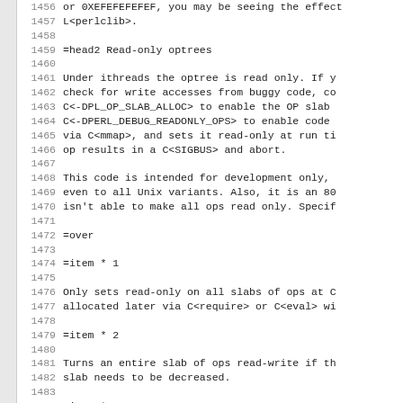1456  or 0XEFEFEFEFEF, you may be seeing the effect
1457  L<perlclib>.
1458
1459  =head2 Read-only optrees
1460
1461  Under ithreads the optree is read only. If y
1462  check for write accesses from buggy code, co
1463  C<-DPL_OP_SLAB_ALLOC> to enable the OP slab
1464  C<-DPERL_DEBUG_READONLY_OPS> to enable code
1465  via C<mmap>, and sets it read-only at run ti
1466  op results in a C<SIGBUS> and abort.
1467
1468  This code is intended for development only,
1469  even to all Unix variants. Also, it is an 80
1470  isn't able to make all ops read only. Specif
1471
1472  =over
1473
1474  =item * 1
1475
1476  Only sets read-only on all slabs of ops at C
1477  allocated later via C<require> or C<eval> wi
1478
1479  =item * 2
1480
1481  Turns an entire slab of ops read-write if th
1482  slab needs to be decreased.
1483
1484  =item * 3
1485
1486  Turns an entire slab of ops read-write if an
1487  freed.
1488